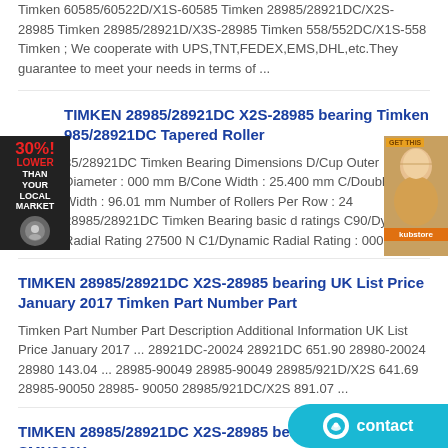Timken 60585/60522D/X1S-60585 Timken 28985/28921DC/X2S-28985 Timken 28985/28921D/X3S-28985 Timken 558/552DC/X1S-558 Timken ; We cooperate with UPS,TNT,FEDEX,EMS,DHL,etc.They guarantee to meet your needs in terms of ...
TIMKEN 28985/28921DC X2S-28985 bearing Timken 985/28921DC Tapered Roller
85/28921DC Timken Bearing Dimensions D/Cup Outer Diameter : 000 mm B/Cone Width : 25.400 mm C/Double Cup Width : 96.01 mm Number of Rollers Per Row : 24 28985/28921DC Timken Bearing basic d ratings C90/Dynamic Radial Rating 27500 N C1/Dynamic Radial Rating : 000 N.
TIMKEN 28985/28921DC X2S-28985 bearing UK List Price January 2017 Timken Part Number Part
Timken Part Number Part Description Additional Information UK List Price January 2017 ... 28921DC-20024 28921DC 651.90 28980-20024 28980 143.04 ... 28985-90049 28985-90049 28985/921D/X2S 641.69 28985-90050 28985-90050 28985/921DC/X2S 891.07 ...
TIMKEN 28985/28921DC X2S-28985 bearing Timken SMN206K bearing | Bearing Online for
We supply high-quality and best service for Timken SMN206K bearing.Timken SMN206K bearing are widely used in motor, industrial